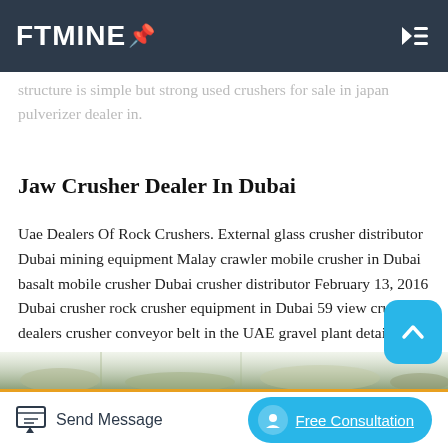FTMINE
structure is simple but strong used crushers for sale in japan pulverizer dealer in.
Jaw Crusher Dealer In Dubai
Uae Dealers Of Rock Crushers. External glass crusher distributor Dubai mining equipment Malay crawler mobile crusher in Dubai basalt mobile crusher Dubai crusher distributor February 13, 2016 Dubai crusher rock crusher equipment in Dubai 59 view crushers dealers crusher conveyor belt in the UAE gravel plant details.
[Figure (photo): Partial view of outdoor mining/quarry scene at bottom of page]
Send Message
Free Consultation